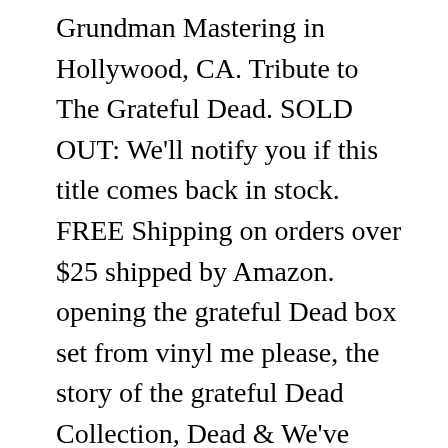Grundman Mastering in Hollywood, CA. Tribute to The Grateful Dead. SOLD OUT: We'll notify you if this title comes back in stock. FREE Shipping on orders over $25 shipped by Amazon. opening the grateful Dead box set from vinyl me please, the story of the grateful Dead Collection, Dead & We've teamed up with Vinyl Me, Please to bring you VMP ANTHOLOGY: THE STORY OF THE GRATEFUL DEAD – an eight album (four studio, four live albums), 14-disc set, pressed on high-quality 180-gram vinyl at QRP, including new direct-to-analog masters from original tapes, in a kaleidoscope of hues. However, if you are looking for nice quality vinyl pressings that are mostly pretty close to the originals in sound